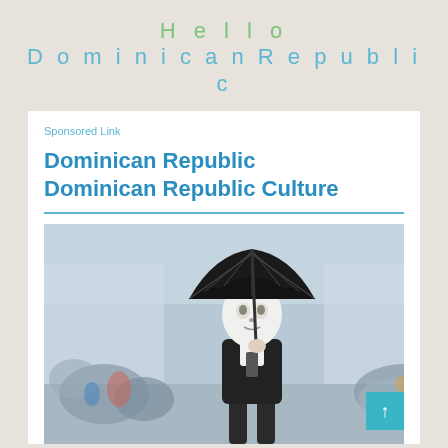Hello DominicanRepublic
Sponsored Link
Dominican Republic Dominican Republic Culture
[Figure (photo): A person wearing a white theatrical mask and black vest, holding a large black umbrella, standing in a blurred street crowd scene during what appears to be a carnival or festival.]